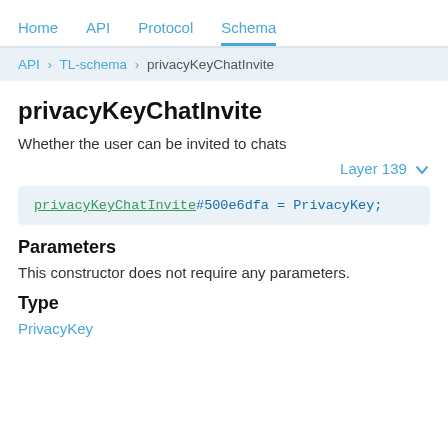Home  API  Protocol  Schema
API > TL-schema > privacyKeyChatInvite
privacyKeyChatInvite
Whether the user can be invited to chats
Layer 139
privacyKeyChatInvite#500e6dfa = PrivacyKey;
Parameters
This constructor does not require any parameters.
Type
PrivacyKey